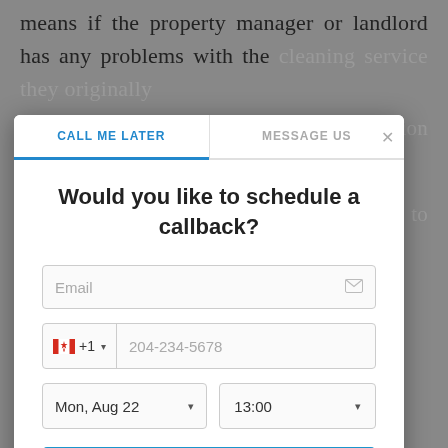means if the property manager or landlord has any problems with the cleaning service they originally
[Figure (screenshot): A customer support modal dialog with two tabs: 'CALL ME LATER' (active) and 'MESSAGE US'. The modal contains a question 'Would you like to schedule a callback?' with an email input field, a phone number field with Canadian flag and +1 country code showing placeholder '204-234-5678', date selector showing 'Mon, Aug 22' and time selector showing '13:00', and a blue 'CALL ME LATER' button.]